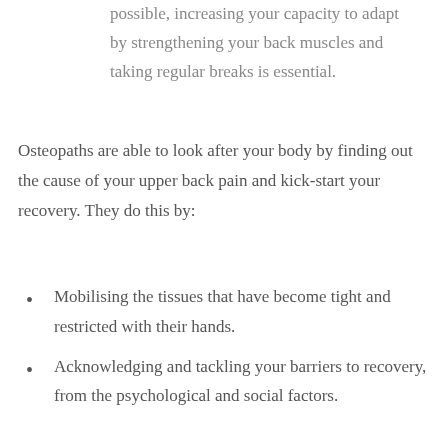possible, increasing your capacity to adapt by strengthening your back muscles and taking regular breaks is essential.
Osteopaths are able to look after your body by finding out the cause of your upper back pain and kick-start your recovery. They do this by:
Mobilising the tissues that have become tight and restricted with their hands.
Acknowledging and tackling your barriers to recovery, from the psychological and social factors.